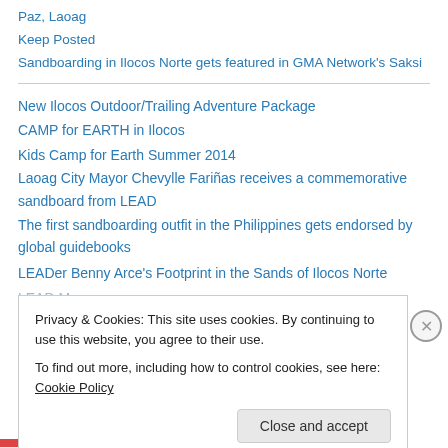Paz, Laoag
Keep Posted
Sandboarding in Ilocos Norte gets featured in GMA Network's Saksi
New Ilocos Outdoor/Trailing Adventure Package
CAMP for EARTH in Ilocos
Kids Camp for Earth Summer 2014
Laoag City Mayor Chevylle Fariñas receives a commemorative sandboard from LEAD
The first sandboarding outfit in the Philippines gets endorsed by global guidebooks
LEADer Benny Arce's Footprint in the Sands of Ilocos Norte
Privacy & Cookies: This site uses cookies. By continuing to use this website, you agree to their use. To find out more, including how to control cookies, see here: Cookie Policy
Close and accept